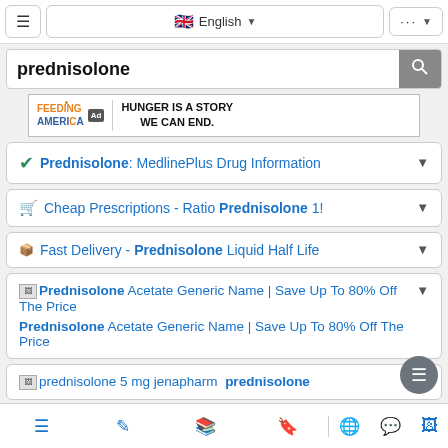≡  🇬🇧 English  ▼  ···  ▼
prednisolone [search bar]
[Figure (other): Feeding America ad banner: HUNGER IS A STORY WE CAN END.]
Prednisolone: MedlinePlus Drug Information
Cheap Prescriptions - Ratio Prednisolone 1!
Fast Delivery - Prednisolone Liquid Half Life
[image] Prednisolone Acetate Generic Name | Save Up To 80% Off The Price — Prednisolone Acetate Generic Name | Save Up To 80% Off The Price
[image] prednisolone 5 mg jenapharm prednisolone...
☰  ✏  📖  🔖  🌐  💬  🖼